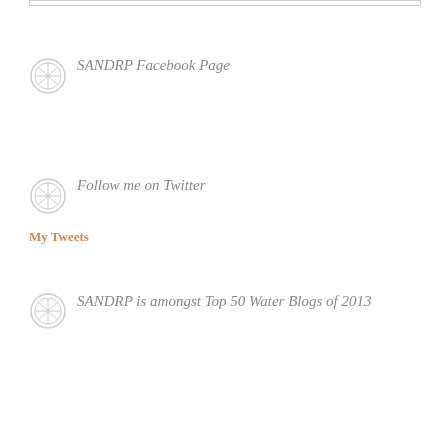SANDRP Facebook Page
Follow me on Twitter
My Tweets
SANDRP is amongst Top 50 Water Blogs of 2013